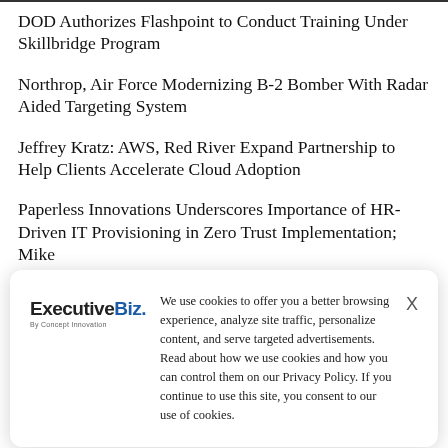DOD Authorizes Flashpoint to Conduct Training Under Skillbridge Program
Northrop, Air Force Modernizing B-2 Bomber With Radar Aided Targeting System
Jeffrey Kratz: AWS, Red River Expand Partnership to Help Clients Accelerate Cloud Adoption
Paperless Innovations Underscores Importance of HR-Driven IT Provisioning in Zero Trust Implementation; Mike Tran; Contributed
[Figure (logo): ExecutiveBiz logo with tagline 'By Concept Innovation']
We use cookies to offer you a better browsing experience, analyze site traffic, personalize content, and serve targeted advertisements. Read about how we use cookies and how you can control them on our Privacy Policy. If you continue to use this site, you consent to our use of cookies.
Tech Modernization for Agencies